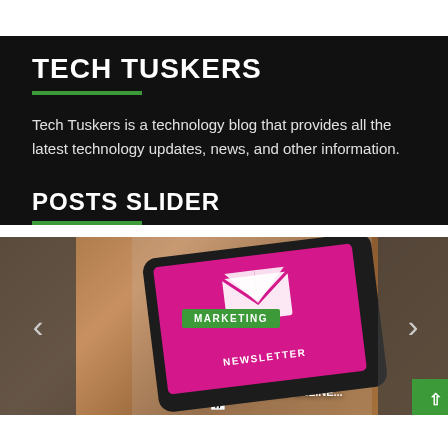TECH TUSKERS
Tech Tuskers is a technology blog that provides all the latest technology updates, news, and other information.
POSTS SLIDER
[Figure (screenshot): A posts slider widget showing a tablet with newsletter marketing image. The slide shows 'MARKETING' badge and partially visible text 'NEWSLETTER SUBSCRIPTION HOW TO GROW...' with left and right navigation arrows.]